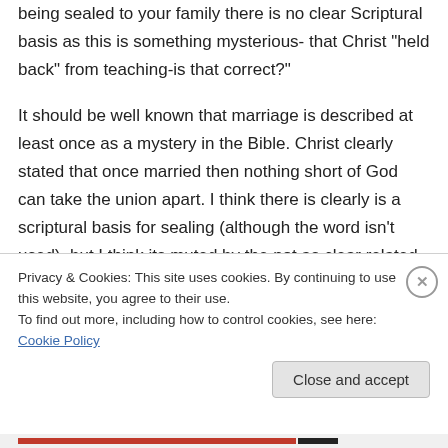being sealed to your family there is no clear Scriptural basis as this is something mysterious- that Christ "held back" from teaching-is that correct?"

It should be well known that marriage is described at least once as a mystery in the Bible. Christ clearly stated that once married then nothing short of God can take the union apart. I think there is clearly is a scriptural basis for sealing (although the word isn't used), but I think its muted by the not as clear related
Privacy & Cookies: This site uses cookies. By continuing to use this website, you agree to their use.
To find out more, including how to control cookies, see here: Cookie Policy